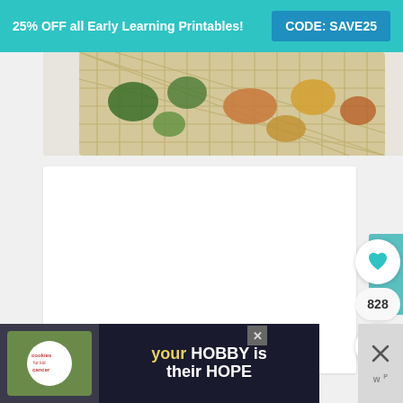25% OFF all Early Learning Printables! CODE: SAVE25
[Figure (photo): Close-up of a mesh/net produce bag containing vegetables and fruits on a white background, viewed from above]
[Figure (screenshot): White card area with loading dots indicator (three small grey circles)]
[Figure (infographic): Social sharing UI: heart/favorite button with count 828, and a share button]
[Figure (photo): Advertisement banner: cookies for kid cancer with 'your HOBBY is their HOPE' text, with close button]